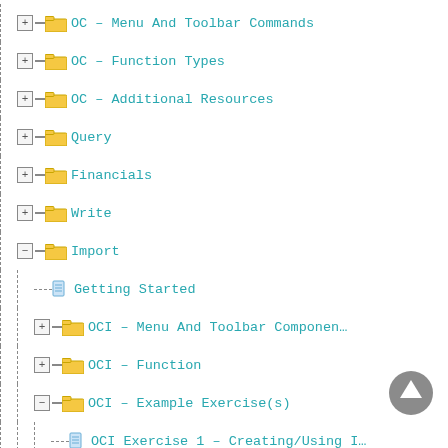OC – Menu And Toolbar Commands
OC – Function Types
OC – Additional Resources
Query
Financials
Write
Import
Getting Started
OCI – Menu And Toolbar Componen...
OCI – Function
OCI – Example Exercise(s)
OCI Exercise 1 – Creating/Using I...
OCI Exercise 2 – Adding Data Val...
OCI Exercise 3 – Enabling Existin...
OCI Exercise 4 – Importing Data I...
OCI – Misc Worksheets
Operator Administrator
Liberty Reports
Integrator